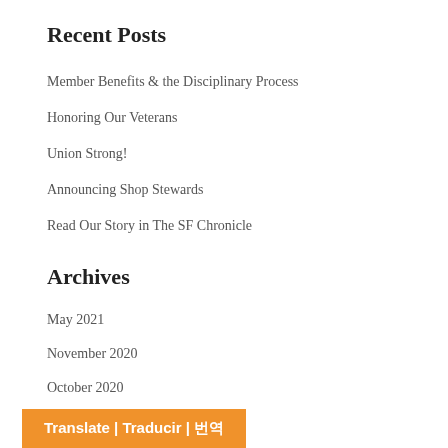Recent Posts
Member Benefits & the Disciplinary Process
Honoring Our Veterans
Union Strong!
Announcing Shop Stewards
Read Our Story in The SF Chronicle
Archives
May 2021
November 2020
October 2020
September 2020
August 2020
Translate | Traducir | 번역